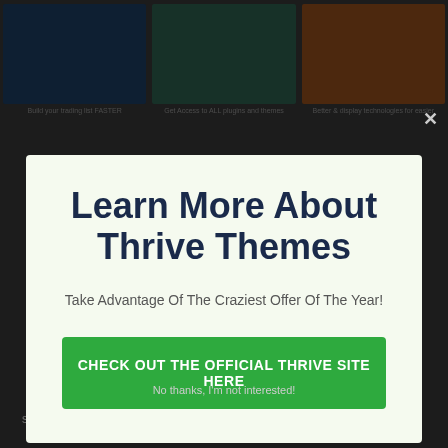[Figure (screenshot): Background web page with three thumbnail images at top (blue, teal, orange/brown) and dimmed article text at bottom]
Learn More About Thrive Themes
Take Advantage Of The Craziest Offer Of The Year!
CHECK OUT THE OFFICIAL THRIVE SITE HERE
No thanks, I'm not interested!
system is what blog owners as well as site owners need to be successful.